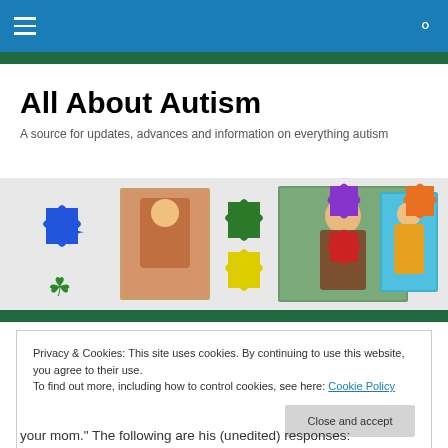All About Autism — navigation bar
All About Autism
A source for updates, advances and information on everything autism
[Figure (photo): Banner image with children and colorful autism puzzle piece icons]
Privacy & Cookies: This site uses cookies. By continuing to use this website, you agree to their use.
To find out more, including how to control cookies, see here: Cookie Policy
[Close and accept button]
your mom." The following are his (unedited) responses: